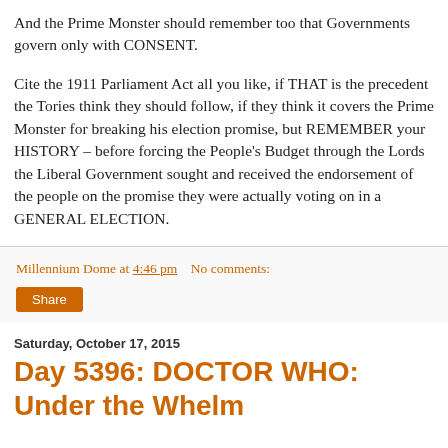And the Prime Monster should remember too that Governments govern only with CONSENT.
Cite the 1911 Parliament Act all you like, if THAT is the precedent the Tories think they should follow, if they think it covers the Prime Monster for breaking his election promise, but REMEMBER your HISTORY – before forcing the People's Budget through the Lords the Liberal Government sought and received the endorsement of the people on the promise they were actually voting on in a GENERAL ELECTION.
Millennium Dome at 4:46 pm    No comments:
Share
Saturday, October 17, 2015
Day 5396: DOCTOR WHO: Under the Whelm